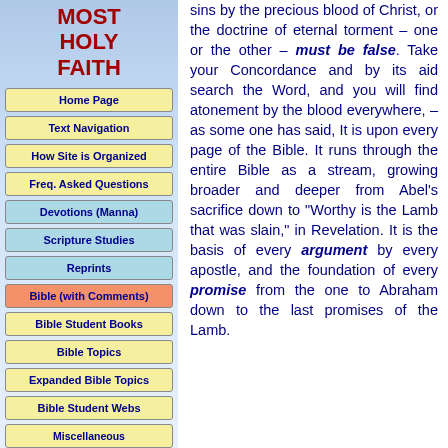MOST HOLY FAITH
Home Page
Text Navigation
How Site is Organized
Freq. Asked Questions
Devotions (Manna)
Scripture Studies
Reprints
Bible (with Comments)
Bible Student Books
Bible Topics
Expanded Bible Topics
Bible Student Webs
Miscellaneous
sins by the precious blood of Christ, or the doctrine of eternal torment – one or the other – must be false. Take your Concordance and by its aid search the Word, and you will find atonement by the blood everywhere, – as some one has said, It is upon every page of the Bible. It runs through the entire Bible as a stream, growing broader and deeper from Abel's sacrifice down to "Worthy is the Lamb that was slain," in Revelation. It is the basis of every argument by every apostle, and the foundation of every promise from the one to Abraham down to the last promises of the Lamb.